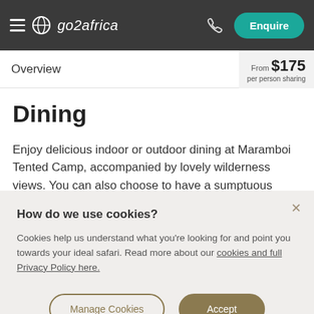go2africa — Enquire
Overview — From $175 per person sharing
Dining
Enjoy delicious indoor or outdoor dining at Maramboi Tented Camp, accompanied by lovely wilderness views. You can also choose to have a sumptuous private dining
How do we use cookies?
Cookies help us understand what you're looking for and point you towards your ideal safari. Read more about our cookies and full Privacy Policy here.